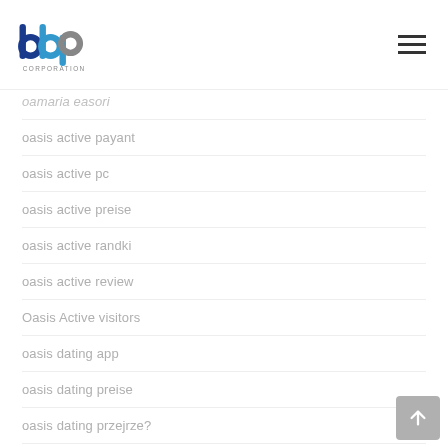[Figure (logo): bbp Corporation logo with blue and grey lettering]
oamaria-easori
oasis active payant
oasis active pc
oasis active preise
oasis active randki
oasis active review
Oasis Active visitors
oasis dating app
oasis dating preise
oasis dating przejrze?